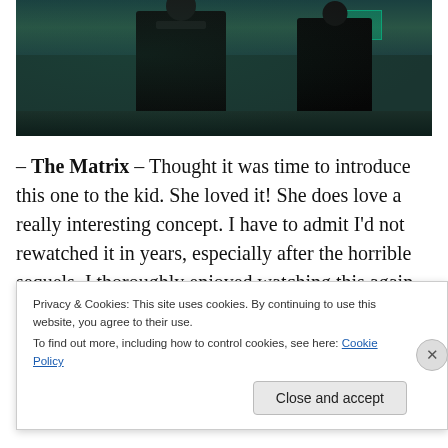[Figure (photo): Movie still from The Matrix showing two figures in black coats/leather in a dark teal-toned corridor or building interior]
– The Matrix – Thought it was time to introduce this one to the kid. She loved it! She does love a really interesting concept. I have to admit I'd not rewatched it in years, especially after the horrible sequels. I thoroughly enjoyed watching this again & think it has aged very well. I'm now
Privacy & Cookies: This site uses cookies. By continuing to use this website, you agree to their use.
To find out more, including how to control cookies, see here: Cookie Policy
Close and accept